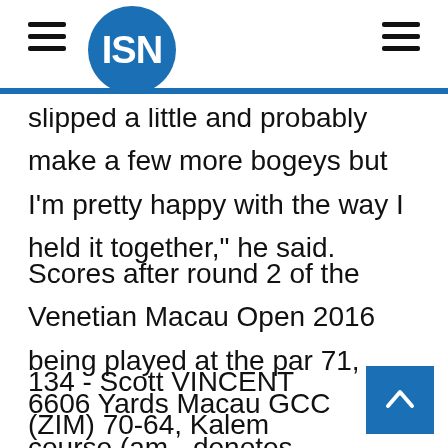ISN
slipped a little and probably make a few more bogeys but I'm pretty happy with the way I held it together," he said.
Scores after round 2 of the Venetian Macau Open 2016 being played at the par 71, 6606 Yards Macau GCC course (am - denotes amateur):
134 - Scott VINCENT (ZIM) 70-64, Kalem RICHARDSON (AUS) 67-67, Chikkarangappa (IND) 69-65, Anirban LAHIRI (IND) 66-68, Sutijet